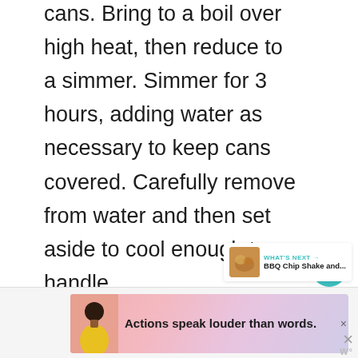cans. Bring to a boil over high heat, then reduce to a simmer. Simmer for 3 hours, adding water as necessary to keep cans covered. Carefully remove from water and then set aside to cool enough to handle.
[Figure (other): Teal heart/favorite button icon]
1
[Figure (other): Share button icon]
[Figure (other): What's Next promotional banner showing BBQ Chip Shake and... with food thumbnail]
[Figure (other): Advertisement banner: Actions speak louder than words. with person in yellow shirt on pink/purple gradient background]